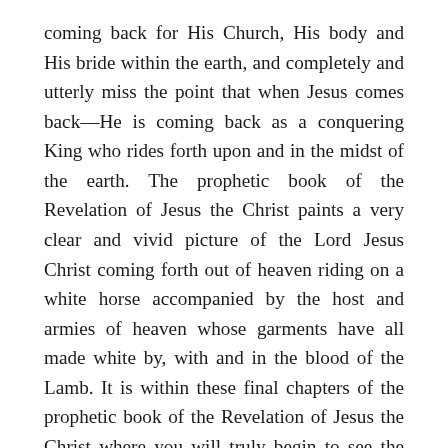coming back for His Church, His body and His bride within the earth, and completely and utterly miss the point that when Jesus comes back—He is coming back as a conquering King who rides forth upon and in the midst of the earth. The prophetic book of the Revelation of Jesus the Christ paints a very clear and vivid picture of the Lord Jesus Christ coming forth out of heaven riding on a white horse accompanied by the host and armies of heaven whose garments have all made white by, with and in the blood of the Lamb. It is within these final chapters of the prophetic book of the Revelation of Jesus the Christ where you will truly begin to see the Lord Jesus Christ coming forth out of heaven as the Lion of the tribe of Judah, and coming forth to conquer within and conquer upon the earth. Although we find in these final chapters the continued—and ultimately the final rebellions and insurrections of the kingdoms and kings of the earth against the throne of God—we are met with the undeniable truth that the Lord Jesus Christ will emerge